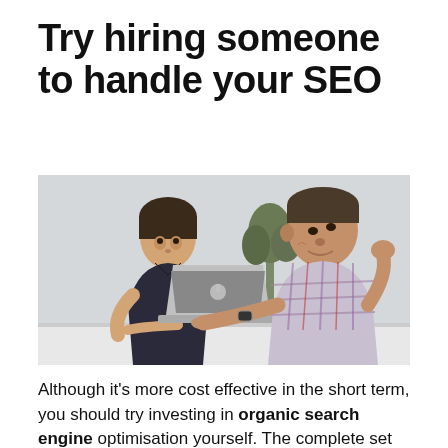Try hiring someone to handle your SEO
[Figure (photo): Two men sitting at a table with a laptop. One younger man in a dark t-shirt looks at the screen while an older man in a plaid shirt points at the screen and speaks. A plant is visible in the background.]
Although it’s more cost effective in the short term, you should try investing in organic search engine optimisation yourself. The complete set of…